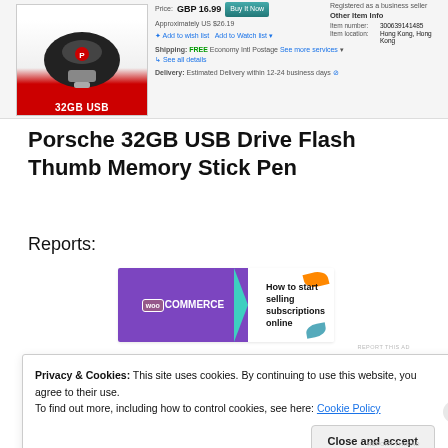[Figure (screenshot): eBay product listing screenshot showing Porsche 32GB USB drive with price GBP 16.99, approximately US $26.19, free economy international postage, estimated delivery 12-24 business days, item number 300639141485, item location Hong Kong.]
Porsche 32GB USB Drive Flash Thumb Memory Stick Pen
Reports:
[Figure (screenshot): WooCommerce advertisement banner: 'How to start selling subscriptions online']
[Figure (screenshot): Partially visible blue hyperlink text at bottom of page]
Privacy & Cookies: This site uses cookies. By continuing to use this website, you agree to their use.
To find out more, including how to control cookies, see here: Cookie Policy
Close and accept